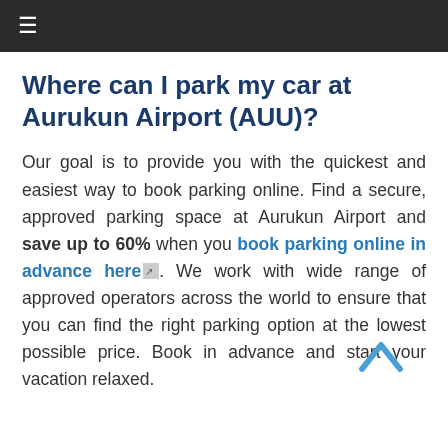≡
Where can I park my car at Aurukun Airport (AUU)?
Our goal is to provide you with the quickest and easiest way to book parking online. Find a secure, approved parking space at Aurukun Airport and save up to 60% when you book parking online in advance here. We work with wide range of approved operators across the world to ensure that you can find the right parking option at the lowest possible price. Book in advance and start your vacation relaxed.